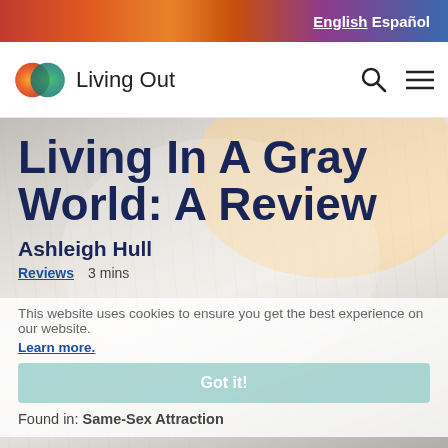English Español
[Figure (logo): Living Out logo with two overlapping circles (orange/red and teal/green) and text 'Living Out']
Living In A Gray World: A Review
Ashleigh Hull
Reviews   3 mins
This website uses cookies to ensure you get the best experience on our website.
Learn more.
Got it!
Found in: Same-Sex Attraction